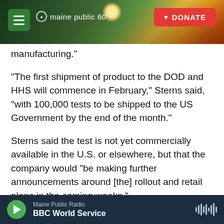[Figure (screenshot): Maine Public Radio website header with navigation menu button, Maine Public 60th anniversary logo, and red DONATE button, over a scenic sunrise/landscape photo]
manufacturing."
"The first shipment of product to the DOD and HHS will commence in February," Sterns said, "with 100,000 tests to be shipped to the US Government by the end of the month."
Sterns said the test is not yet commercially available in the U.S. or elsewhere, but that the company would "be making further announcements around [the] rollout and retail plans in the coming weeks."
The Biden administration is trying to bolster testing
Maine Public Radio / BBC World Service